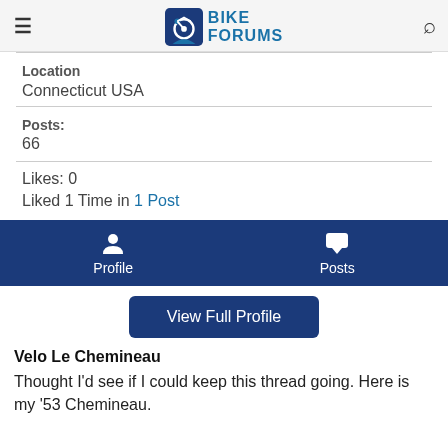BIKE FORUMS
Location
Connecticut USA
Posts:
66
Likes: 0
Liked 1 Time in 1 Post
[Figure (screenshot): Navigation bar with Profile and Posts icons on dark blue background]
View Full Profile
Velo Le Chemineau
Thought I'd see if I could keep this thread going. Here is my '53 Chemineau.